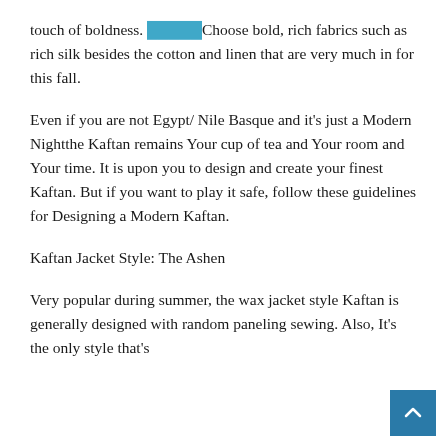touch of boldness. ░░░░░Choose bold, rich fabrics such as rich silk besides the cotton and linen that are very much in for this fall.
Even if you are not Egypt/ Nile Basque and it's just a Modern Nightthe Kaftan remains Your cup of tea and Your room and Your time. It is upon you to design and create your finest Kaftan. But if you want to play it safe, follow these guidelines for Designing a Modern Kaftan.
Kaftan Jacket Style: The Ashen
Very popular during summer, the wax jacket style Kaftan is generally designed with random paneling sewing. Also, It's the only style that's